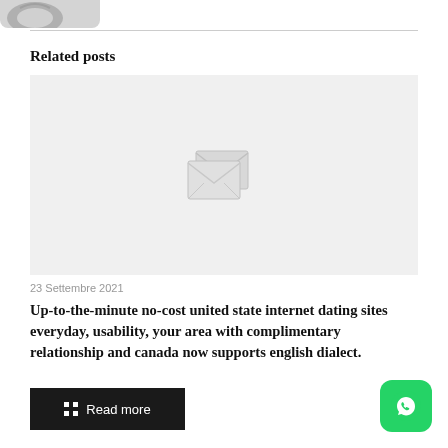[Figure (illustration): Partial logo/image at top left, cropped, grey tones]
Related posts
[Figure (photo): Placeholder image with broken image icon in grey area]
23 Settembre 2021
Up-to-the-minute no-cost united state internet dating sites everyday, usability, your area with complimentary relationship and canada now supports english dialect.
Read more
[Figure (logo): WhatsApp icon, green rounded square with white phone/speech bubble]